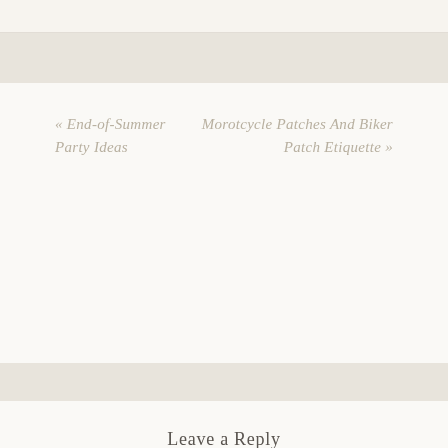« End-of-Summer Party Ideas
Morotcycle Patches And Biker Patch Etiquette »
Leave a Reply
Your email address will not be published.